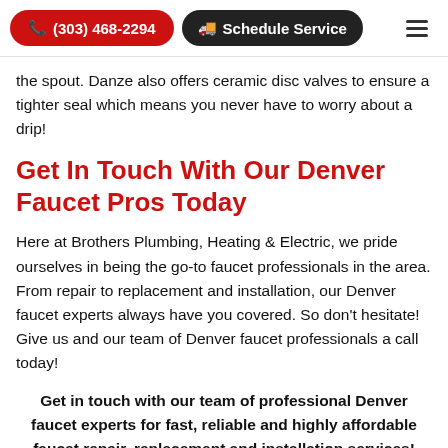📞 (303) 468-2294  🚚 Schedule Service  ≡
the spout. Danze also offers ceramic disc valves to ensure a tighter seal which means you never have to worry about a drip!
Get In Touch With Our Denver Faucet Pros Today
Here at Brothers Plumbing, Heating & Electric, we pride ourselves in being the go-to faucet professionals in the area. From repair to replacement and installation, our Denver faucet experts always have you covered. So don't hesitate! Give us and our team of Denver faucet professionals a call today!
Get in touch with our team of professional Denver faucet experts for fast, reliable and highly affordable faucet repair, replacement and installation services!